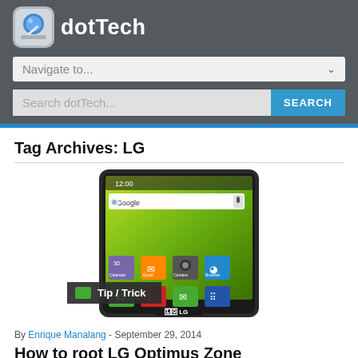dotTech
Navigate to...
Search dotTech... SEARCH
Tag Archives: LG
[Figure (screenshot): LG Optimus Zone Android smartphone showing home screen with Google search bar, app icons (Calendar, Email, Camera, Browser), and LG logo at bottom]
Tip / Trick
By Enrique Manalang - September 29, 2014
How to root LG Optimus Zone